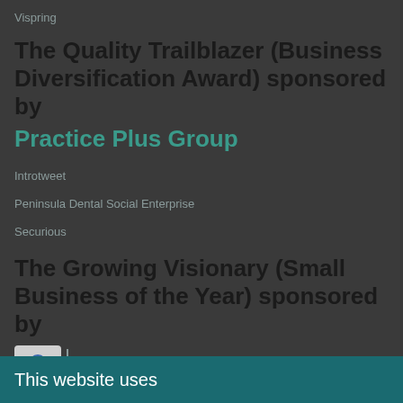Vispring
The Quality Trailblazer (Business Diversification Award) sponsored by Practice Plus Group
Introtweet
Peninsula Dental Social Enterprise
Securious
The Growing Visionary (Small Business of the Year) sponsored by
ro Academy
This website uses